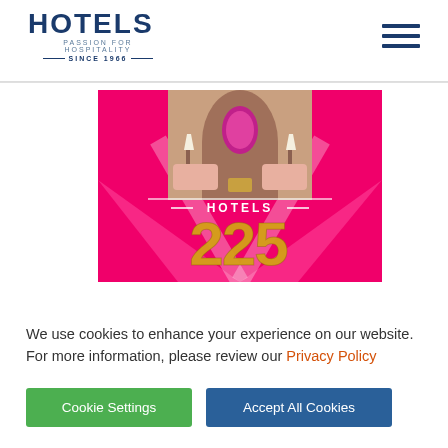[Figure (logo): Hotels magazine logo with text 'HOTELS', tagline 'PASSION FOR HOSPITALITY', and 'SINCE 1966']
[Figure (photo): Hotels 225 promotional image showing a pink hotel interior with lamps, mirror, and large stylized '225' text in gold on a hot pink background]
We use cookies to enhance your experience on our website. For more information, please review our Privacy Policy
Cookie Settings
Accept All Cookies